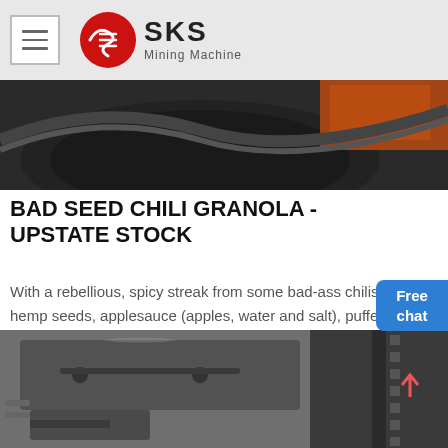SKS Mining Machine
[Figure (photo): Close-up photo of orange/dark mining machine parts]
BAD SEED CHILI GRANOLA - UPSTATE STOCK
With a rebellious, spicy streak from some bad-ass chilis, hulled hemp seeds, applesauce (apples, water and salt), puffed rice, organic brown rice syrup, brown.
[Figure (photo): Close-up black and white photo of heavy industrial mining machine gears and mechanical parts]